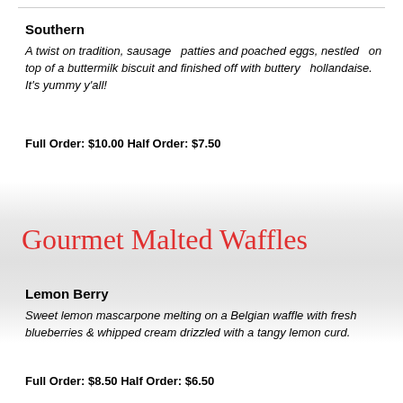Southern
A twist on tradition, sausage   patties and poached eggs, nestled   on top of a buttermilk biscuit and finished off with buttery   hollandaise. It's yummy y'all!
Full Order: $10.00 Half Order: $7.50
Gourmet Malted Waffles
Lemon Berry
Sweet lemon mascarpone melting on a Belgian waffle with fresh blueberries & whipped cream drizzled with a tangy lemon curd.
Full Order: $8.50 Half Order: $6.50